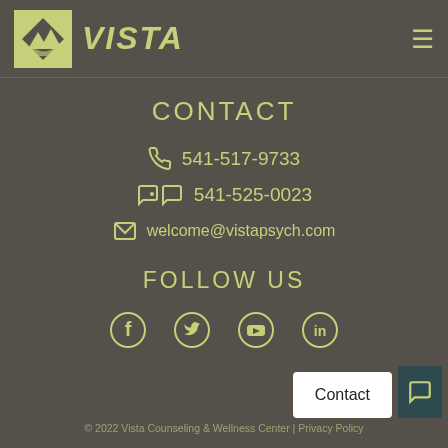[Figure (logo): Vista Counseling & Wellness Center logo with mountain graphic in yellow-green box and VISTA text in italic yellow-green]
CONTACT
📞 541-517-9733
💬 541-525-0023
✉ welcome@vistapsych.com
FOLLOW US
[Figure (infographic): Social media icons: Facebook, Twitter/X, YouTube, LinkedIn]
© 2022 Vista Counseling & Wellness Center | Privacy Policy